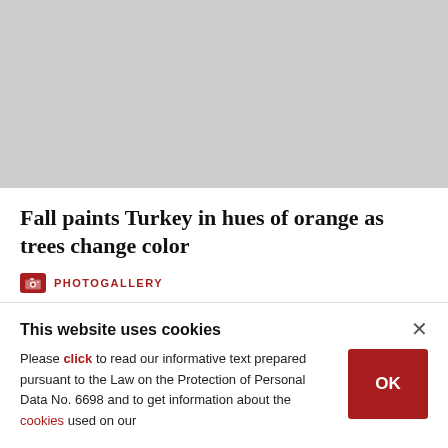[Figure (photo): Gray placeholder image for a photo gallery article about fall colors in Turkey]
Fall paints Turkey in hues of orange as trees change color
PHOTOGALLERY
This website uses cookies
Please click to read our informative text prepared pursuant to the Law on the Protection of Personal Data No. 6698 and to get information about the cookies used on our